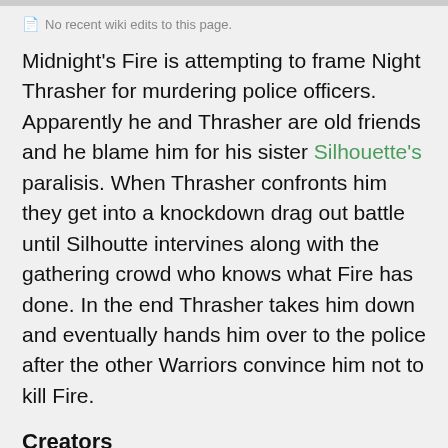No recent wiki edits to this page.
Midnight's Fire is attempting to frame Night Thrasher for murdering police officers. Apparently he and Thrasher are old friends and he blame him for his sister Silhouette's paralisis. When Thrasher confronts him they get into a knockdown drag out battle until Silhoutte intervines along with the gathering crowd who knows what Fire has done. In the end Thrasher takes him down and eventually hands him over to the police after the other Warriors convince him not to kill Fire.
Creators
Al Williamson
cover, inker
Andy Yanchus
colorist
Danny Fingeroth
Fabian Nicieza